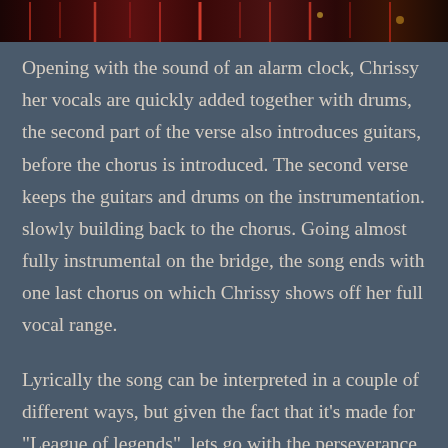[Figure (photo): Dark banner image at the top of the page showing a dimly lit stage or performance scene with red and orange lights]
Opening with the sound of an alarm clock, Chrissy her vocals are quickly added together with drums, the second part of the verse also introduces guitars, before the chorus is introduced. The second verse keeps the guitars and drums on the instrumentation. slowly building back to the chorus. Going almost fully instrumental on the bridge, the song ends with one last chorus on which Chrissy shows off her full vocal range.
Lyrically the song can be interpreted in a couple of different ways, but given the fact that it’s made for “League of legends”, lets go with the perseverance as theme for the song.